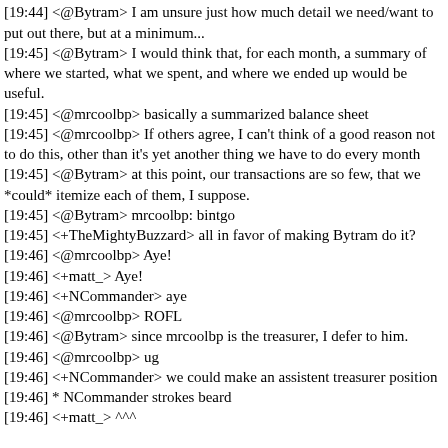community
[19:44] <@Bytram> I am unsure just how much detail we need/want to put out there, but at a minimum...
[19:45] <@Bytram> I would think that, for each month, a summary of where we started, what we spent, and where we ended up would be useful.
[19:45] <@mrcoolbp> basically a summarized balance sheet
[19:45] <@mrcoolbp> If others agree, I can't think of a good reason not to do this, other than it's yet another thing we have to do every month
[19:45] <@Bytram> at this point, our transactions are so few, that we *could* itemize each of them, I suppose.
[19:45] <@Bytram> mrcoolbp: bintgo
[19:45] <+TheMightyBuzzard> all in favor of making Bytram do it?
[19:46] <@mrcoolbp> Aye!
[19:46] <+matt_> Aye!
[19:46] <+NCommander> aye
[19:46] <@mrcoolbp> ROFL
[19:46] <@Bytram> since mrcoolbp is the treasurer, I defer to him.
[19:46] <@mrcoolbp> ug
[19:46] <+NCommander> we could make an assistent treasurer position
[19:46] * NCommander strokes beard
[19:46] <+matt_> ^^^